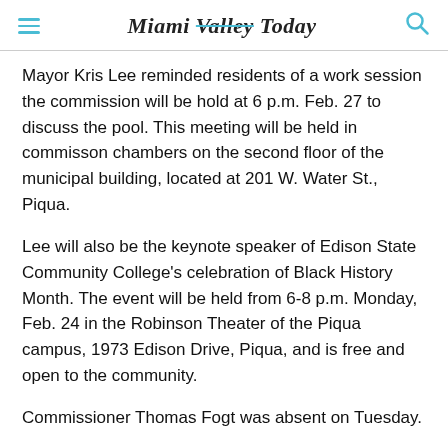Miami Valley Today
Mayor Kris Lee reminded residents of a work session the commission will be hold at 6 p.m. Feb. 27 to discuss the pool. This meeting will be held in commisson chambers on the second floor of the municipal building, located at 201 W. Water St., Piqua.
Lee will also be the keynote speaker of Edison State Community College's celebration of Black History Month. The event will be held from 6-8 p.m. Monday, Feb. 24 in the Robinson Theater of the Piqua campus, 1973 Edison Drive, Piqua, and is free and open to the community.
Commissioner Thomas Fogt was absent on Tuesday.
Reach the writer at swildow@aimmediamidwest.com. ©